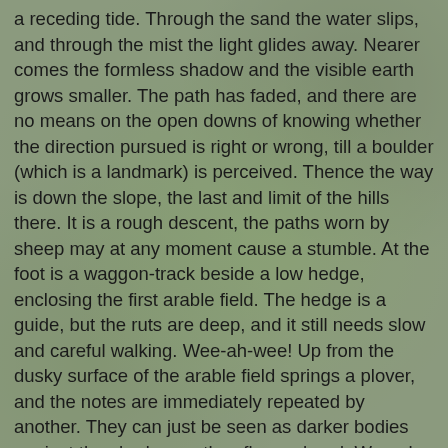a receding tide. Through the sand the water slips, and through the mist the light glides away. Nearer comes the formless shadow and the visible earth grows smaller. The path has faded, and there are no means on the open downs of knowing whether the direction pursued is right or wrong, till a boulder (which is a landmark) is perceived. Thence the way is down the slope, the last and limit of the hills there. It is a rough descent, the paths worn by sheep may at any moment cause a stumble. At the foot is a waggon-track beside a low hedge, enclosing the first arable field. The hedge is a guide, but the ruts are deep, and it still needs slow and careful walking. Wee-ah-wee! Up from the dusky surface of the arable field springs a plover, and the notes are immediately repeated by another. They can just be seen as darker bodies against the shadow as they fly overhead. Wee-ah-wee! The sound grows fainter as they fetch a longer circle in the gloom.
There is another winter resort of plovers in the valley where a barren waste was ploughed some years ago. A few furze bushes still stand in the hedges about it, and the corners are full of rushes. Not all the grubbing of furze and bushes, the